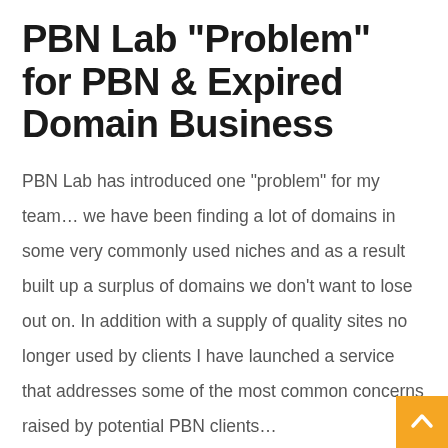PBN Lab “Problem” for PBN & Expired Domain Business
PBN Lab has introduced one “problem” for my team… we have been finding a lot of domains in some very commonly used niches and as a result built up a surplus of domains we don’t want to lose out on. In addition with a supply of quality sites no longer used by clients I have launched a service that addresses some of the most common concerns raised by potential PBN clients…
Done For You PBN Service Concerns…
1. “Costs to much to get started”
2. (partial, cut off)